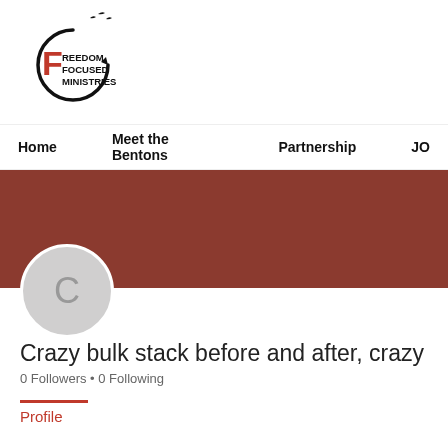[Figure (logo): Freedom Focused Ministries logo: circular arrow with birds and bold F with red REEDOM FOCUSED MINISTRIES text]
Home   Meet the Bentons   Partnership   JO
[Figure (other): Dark red/brown banner background]
[Figure (other): Gray circle avatar with letter C]
Crazy bulk stack before and after, crazy bulk bu
0 Followers • 0 Following
Profile